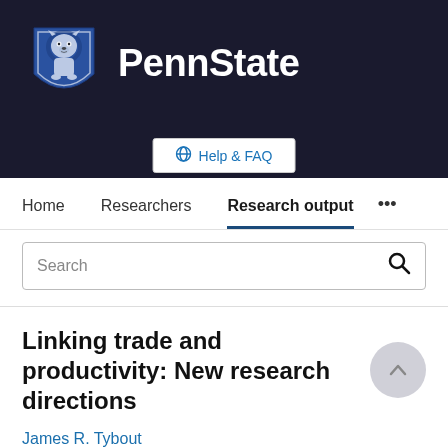[Figure (logo): Penn State University logo with lion shield and PennState wordmark on dark background]
Help & FAQ
Home   Researchers   Research output   ...
Search
Linking trade and productivity: New research directions
James R. Tybout